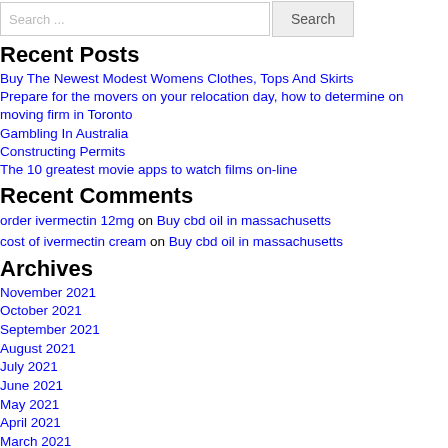Search ...
Recent Posts
Buy The Newest Modest Womens Clothes, Tops And Skirts
Prepare for the movers on your relocation day, how to determine on moving firm in Toronto
Gambling In Australia
Constructing Permits
The 10 greatest movie apps to watch films on-line
Recent Comments
order ivermectin 12mg on Buy cbd oil in massachusetts
cost of ivermectin cream on Buy cbd oil in massachusetts
Archives
November 2021
October 2021
September 2021
August 2021
July 2021
June 2021
May 2021
April 2021
March 2021
February 2021
January 2021
December 2020
November 2020
October 2020
September 2020